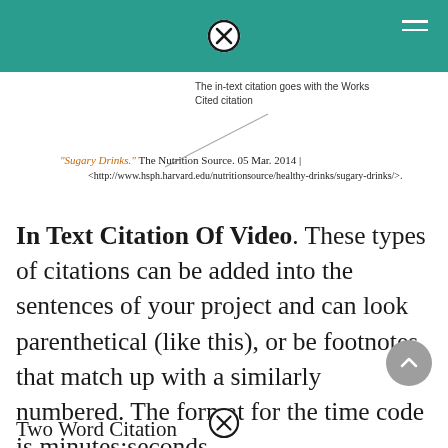[Figure (screenshot): Screenshot of a Works Cited entry for 'Sugary Drinks' from The Nutrition Source, with an annotation arrow pointing to the in-text citation note: 'The in-text citation goes with the Works Cited citation'. The entry reads: "Sugary Drinks." The Nutrition Source. 05 Mar. 2014 | <http://www.hsph.harvard.edu/nutritionsource/healthy-drinks/sugary-drinks/>.]
In Text Citation Of Video. These types of citations can be added into the sentences of your project and can look parenthetical (like this), or be footnotes that match up with a similarly numbered. The format for the time code is minutes:seconds.
Two Word Citation